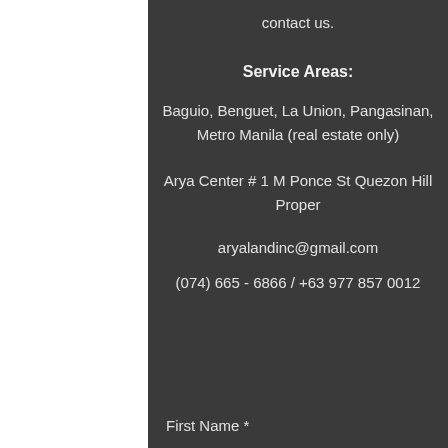contact us.
Service Areas:
Baguio, Benguet, La Union, Pangasinan, Metro Manila (real estate only)
Arya Center # 1 M Ponce St Quezon Hill Proper
aryalandinc@gmail.com
(074) 665 - 6866 / +63 977 857 0012
First Name *